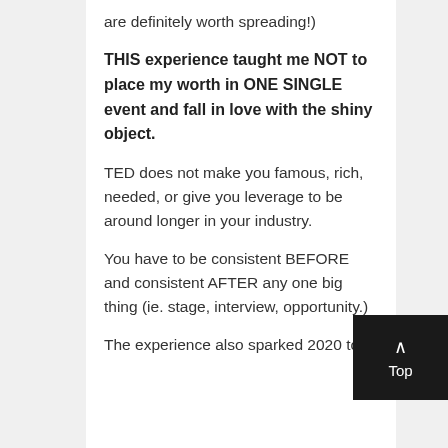are definitely worth spreading!)
THIS experience taught me NOT to place my worth in ONE SINGLE event and fall in love with the shiny object.
TED does not make you famous, rich, needed, or give you leverage to be around longer in your industry.
You have to be consistent BEFORE and consistent AFTER any one big thing (ie. stage, interview, opportunity.)
The experience also sparked 2020 to